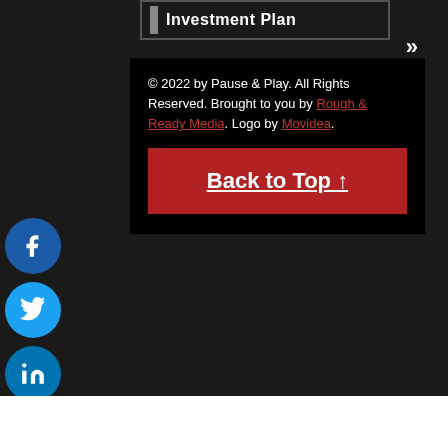Investment Plan
© 2022 by Pause & Play. All Rights Reserved. Brought to you by Rough & Ready Media. Logo by Movidea.
Back to Top ↑
[Figure (illustration): Social media share buttons column: Facebook (blue circle), Twitter (light blue circle), LinkedIn (dark blue circle), Reddit (orange circle), Email (gray circle)]